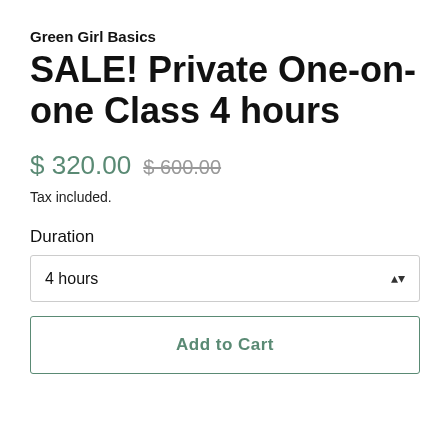Green Girl Basics
SALE! Private One-on-one Class 4 hours
$ 320.00  $ 600.00
Tax included.
Duration
4 hours
Add to Cart